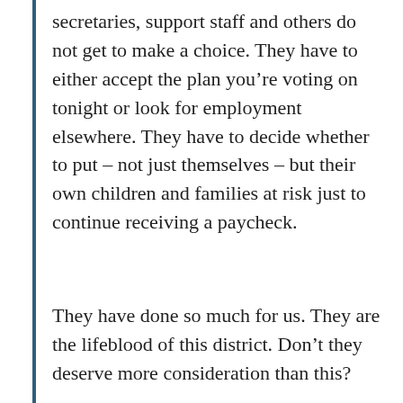secretaries, support staff and others do not get to make a choice. They have to either accept the plan you're voting on tonight or look for employment elsewhere. They have to decide whether to put – not just themselves – but their own children and families at risk just to continue receiving a paycheck.
They have done so much for us. They are the lifeblood of this district. Don't they deserve more consideration than this?